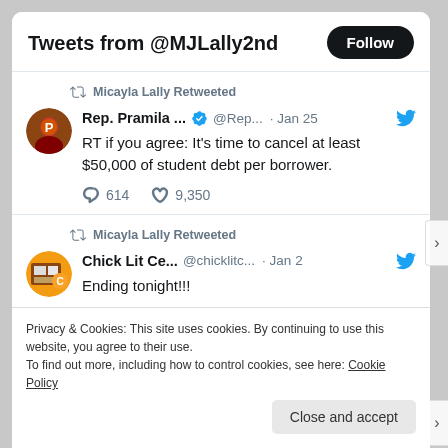Tweets from @MJLally2nd
Micayla Lally Retweeted
Rep. Pramila ... @Rep... · Jan 25
RT if you agree: It's time to cancel at least $50,000 of student debt per borrower.
614   9,350
Micayla Lally Retweeted
Chick Lit Ce... @chicklitc... · Jan 2
Ending tonight!!!
1
Privacy & Cookies: This site uses cookies. By continuing to use this website, you agree to their use.
To find out more, including how to control cookies, see here: Cookie Policy
Close and accept